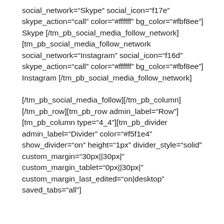social_network="Skype" social_icon="f17e" skype_action="call" color="#ffffff" bg_color="#fbf8ee"] Skype [/tm_pb_social_media_follow_network] [tm_pb_social_media_follow_network social_network="Instagram" social_icon="f16d" skype_action="call" color="#ffffff" bg_color="#fbf8ee"] Instagram [/tm_pb_social_media_follow_network]
[/tm_pb_social_media_follow][/tm_pb_column] [/tm_pb_row][tm_pb_row admin_label="Row"] [tm_pb_column type="4_4"][tm_pb_divider admin_label="Divider" color="#f5f1e4" show_divider="on" height="1px" divider_style="solid" custom_margin="30px||30px|" custom_margin_tablet="0px||30px|" custom_margin_last_edited="on|desktop" saved_tabs="all"]